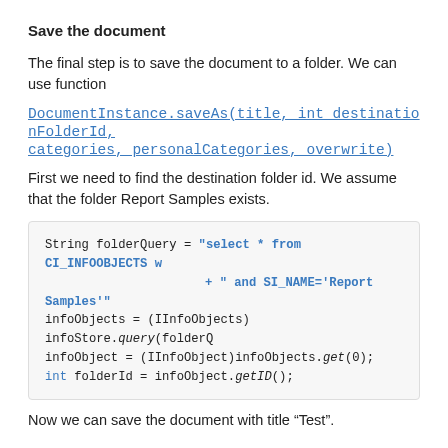Save the document
The final step is to save the document to a folder. We can use function
DocumentInstance.saveAs(title, int destinationFolderId, categories, personalCategories, overwrite)
First we need to find the destination folder id. We assume that the folder Report Samples exists.
[Figure (other): Code block: String folderQuery = "select * from CI_INFOOBJECTS w + " and SI_NAME='Report Samples'" infoObjects = (IInfoObjects) infoStore.query(folderQ infoObject = (IInfoObject)infoObjects.get(0); int folderId = infoObject.getID();]
Now we can save the document with title “Test".